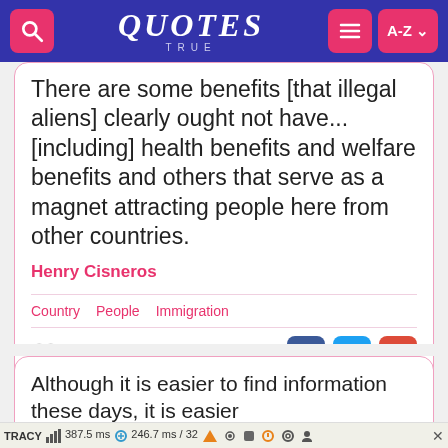QUOTES TRUE
There are some benefits [that illegal aliens] clearly ought not have... [including] health benefits and welfare benefits and others that serve as a magnet attracting people here from other countries.
Henry Cisneros
Country   People   Immigration
1191
Although it is easier to find information these days, it is easier
TRACY  387.5 ms   246.7 ms / 32   ×